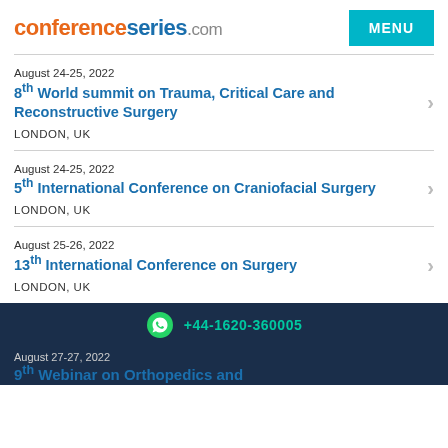conferenceseries.com
August 24-25, 2022
8th World summit on Trauma, Critical Care and Reconstructive Surgery
LONDON, UK
August 24-25, 2022
5th International Conference on Craniofacial Surgery
LONDON, UK
August 25-26, 2022
13th International Conference on Surgery
LONDON, UK
+44-1620-360005
August 27-27, 2022
9th Webinar on Orthopedics and...